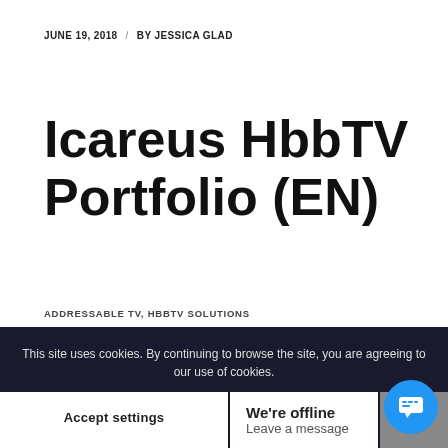JUNE 19, 2018 / BY JESSICA GLAD
Icareus HbbTV Portfolio (EN)
ADDRESSABLE TV, HBBTV SOLUTIONS
A general presentation on Icareus HbbTV (Hybrid Broadcast Broadband TV) product, solution and application offering.
For additional information please do not hesitate to
This site uses cookies. By continuing to browse the site, you are agreeing to our use of cookies.
Accept settings
We're offline
Leave a message